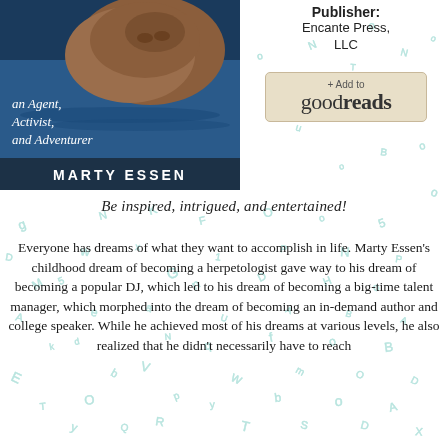[Figure (illustration): Book cover for Marty Essen's book showing a hippopotamus in water with text 'an Agent, Activist, and Adventurer' and author name 'MARTY ESSEN']
Publisher: Encante Press, LLC
[Figure (logo): Goodreads '+ Add to goodreads' button]
Be inspired, intrigued, and entertained!
Everyone has dreams of what they want to accomplish in life. Marty Essen's childhood dream of becoming a herpetologist gave way to his dream of becoming a popular DJ, which led to his dream of becoming a big-time talent manager, which morphed into the dream of becoming an in-demand author and college speaker. While he achieved most of his dreams at various levels, he also realized that he didn't necessarily have to reach